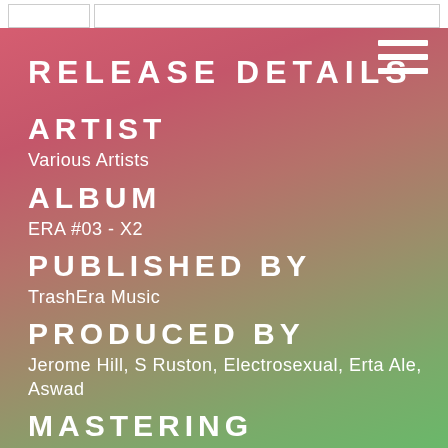RELEASE DETAILS
ARTIST
Various Artists
ALBUM
ERA #03 - X2
PUBLISHED BY
TrashEra Music
PRODUCED BY
Jerome Hill, S Ruston, Electrosexual, Erta Ale, Aswad
MASTERING
GridBasedBeats (Chicago)